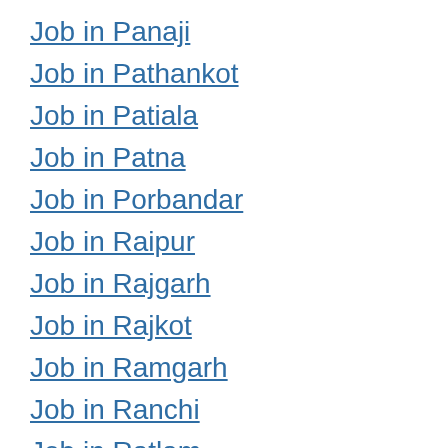Job in Panaji
Job in Pathankot
Job in Patiala
Job in Patna
Job in Porbandar
Job in Raipur
Job in Rajgarh
Job in Rajkot
Job in Ramgarh
Job in Ranchi
Job in Ratlam
Job in Rewa
Job in Rewari